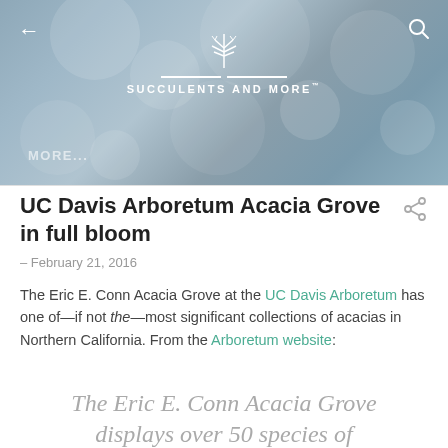[Figure (screenshot): Header banner with bokeh/blur background in blue-gray tones, back arrow on left, search icon on right, succulent plant logo (white line art) centered with decorative lines, and 'SUCCULENTS AND MORE™' text below. 'MORE...' appears at bottom left of banner.]
UC Davis Arboretum Acacia Grove in full bloom
– February 21, 2016
The Eric E. Conn Acacia Grove at the UC Davis Arboretum has one of—if not the—most significant collections of acacias in Northern California. From the Arboretum website:
The Eric E. Conn Acacia Grove displays over 50 species of